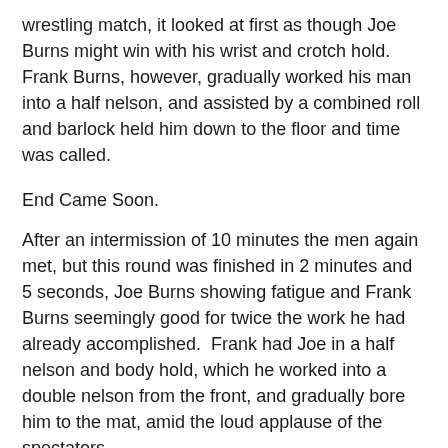wrestling match, it looked at first as though Joe Burns might win with his wrist and crotch hold.  Frank Burns, however, gradually worked his man into a half nelson, and assisted by a combined roll and barlock held him down to the floor and time was called.
End Came Soon.
After an intermission of 10 minutes the men again met, but this round was finished in 2 minutes and 5 seconds, Joe Burns showing fatigue and Frank Burns seemingly good for twice the work he had already accomplished.  Frank had Joe in a half nelson and body hold, which he worked into a double nelson from the front, and gradually bore him to the mat, amid the loud applause of the spectators.
Referee Earl Henry, in introducing the wrestlers, stated that in professional wrestling no strangle holds were allowed and in the next chapter someone had hold and were she was cut off